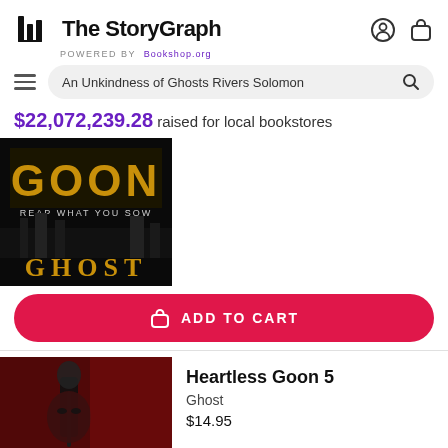The StoryGraph POWERED BY Bookshop.org
An Unkindness of Ghosts Rivers Solomon
$22,072,239.28 raised for local bookstores
[Figure (photo): Book cover for a Ghost novel: dark background with gold 'GHOST' text and 'REAP WHAT YOU SOW' tagline]
ADD TO CART
[Figure (photo): Book cover for Heartless Goon 5 by Ghost: dark red cover with a figure holding a gun]
Heartless Goon 5
Ghost
$14.95